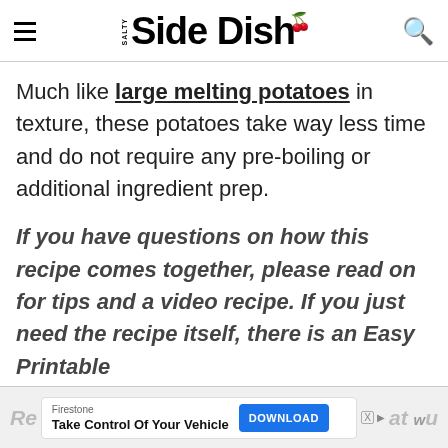Salty Side Dish
Much like large melting potatoes in texture, these potatoes take way less time and do not require any pre-boiling or additional ingredient prep.
If you have questions on how this recipe comes together, please read on for tips and a video recipe. If you just need the recipe itself, there is an Easy Printable Re... at you
[Figure (other): Firestone advertisement banner: 'Take Control Of Your Vehicle' with DOWNLOAD button]